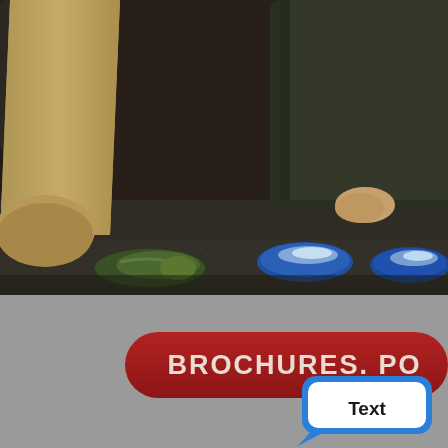[Figure (photo): A photo showing the lower bodies and legs of people kneeling or sitting on dark asphalt ground. One person on the left wears khaki pants and green Nike sneakers. A person on the right wears a dark jacket, blue jeans, and blue/white sneakers. Their hands are clasped in the center.]
BROCHURES. PO
[Figure (other): A blue speech/chat bubble icon with a white inner bubble containing the word 'Text' in bold dark font.]